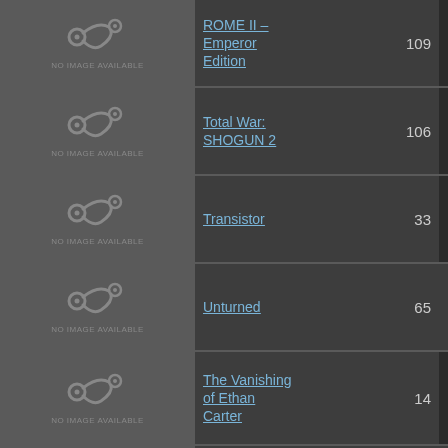| Image | Game Name | Count | Achievements |
| --- | --- | --- | --- |
| NO IMAGE AVAILABLE | ROME II – Emperor Edition | 109 | ? |
| NO IMAGE AVAILABLE | Total War: SHOGUN 2 | 106 | ? |
| NO IMAGE AVAILABLE | Transistor | 33 | ? |
| NO IMAGE AVAILABLE | Unturned | 65 |  |
| NO IMAGE AVAILABLE | The Vanishing of Ethan Carter | 14 | ? |
| NO IMAGE AVAILABLE | The Vanishing of Ethan Carter Redux | 14 |  |